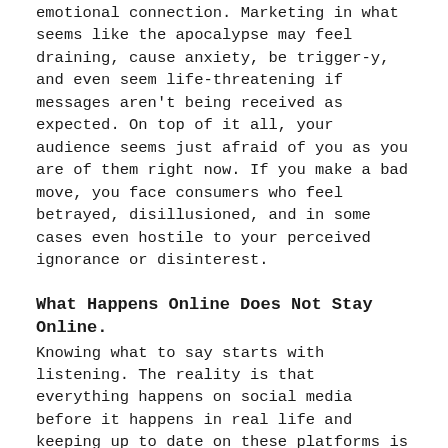emotional connection. Marketing in what seems like the apocalypse may feel draining, cause anxiety, be trigger-y, and even seem life-threatening if messages aren't being received as expected. On top of it all, your audience seems just afraid of you as you are of them right now. If you make a bad move, you face consumers who feel betrayed, disillusioned, and in some cases even hostile to your perceived ignorance or disinterest.
What Happens Online Does Not Stay Online.
Knowing what to say starts with listening. The reality is that everything happens on social media before it happens in real life and keeping up to date on these platforms is essential. Don't just leave it to the bots - do your own hashtag searches to see what comes up, read comments sections and Stories to explore all sides of an issue, and do frequent trend research to help stay in tune with the current social climate. Pay close attention to your critics and collaborate with community leaders on and offline to become an ally for the issues at hand. If the